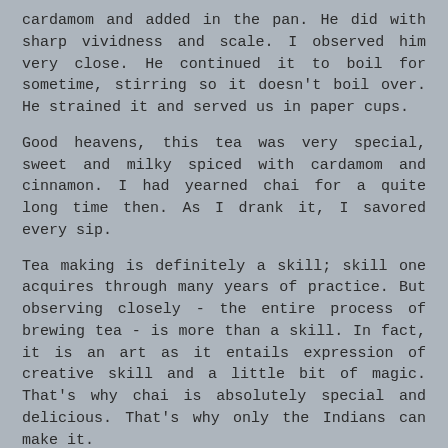cardamom and added in the pan. He did with sharp vividness and scale. I observed him very close. He continued it to boil for sometime, stirring so it doesn't boil over. He strained it and served us in paper cups.
Good heavens, this tea was very special, sweet and milky spiced with cardamom and cinnamon. I had yearned chai for a quite long time then. As I drank it, I savored every sip.
Tea making is definitely a skill; skill one acquires through many years of practice. But observing closely - the entire process of brewing tea - is more than a skill. In fact, it is an art as it entails expression of creative skill and a little bit of magic. That's why chai is absolutely special and delicious. That's why only the Indians can make it.
Riku at 4:42 PM    2 comments:
Share